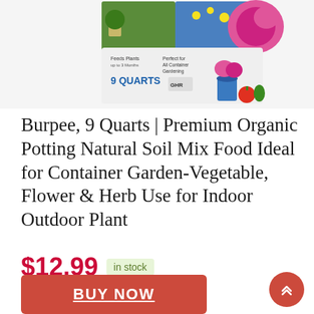[Figure (photo): Product image of Burpee 9 Quarts Premium Organic Potting Soil Mix bag with plants and flowers shown on packaging]
Burpee, 9 Quarts | Premium Organic Potting Natural Soil Mix Food Ideal for Container Garden-Vegetable, Flower & Herb Use for Indoor Outdoor Plant
$12.99  in stock
BUY NOW